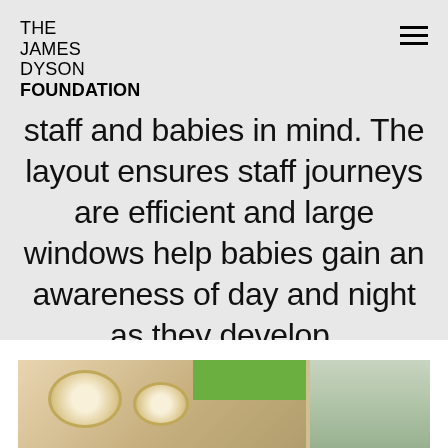THE JAMES DYSON FOUNDATION
staff and babies in mind. The layout ensures staff journeys are efficient and large windows help babies gain an awareness of day and night as they develop.
[Figure (photo): Interior photo of a room with circular ceiling lights, a green architectural panel, and a wooden window frame]